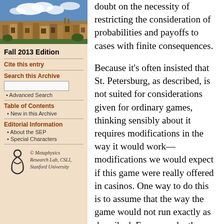[Figure (photo): Photo of a university building with Gothic architecture under a blue sky with clouds]
Fall 2013 Edition
Cite this entry
Search this Archive
Advanced Search
Table of Contents
New in this Archive
Editorial Information
About the SEP
Special Characters
[Figure (logo): Metaphysics Research Lab logo — stylized figure]
© Metaphysics Research Lab, CSLI, Stanford University
doubt on the necessity of restricting the consideration of probabilities and payoffs to cases with finite consequences.

Because it's often insisted that St. Petersburg, as described, is not suited for considerations given for ordinary games, thinking sensibly about it requires modifications in the way it would work—modifications we would expect if this game were really offered in casinos. One way to do this is to assume that the way the game would not run exactly as described. For example, the casino might terminate play after some number of consecutive heads, call it N, and